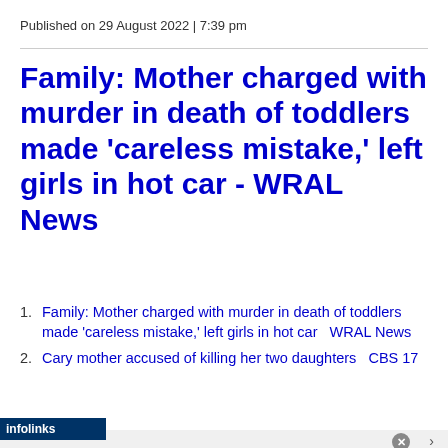Published on 29 August 2022 | 7:39 pm
Family: Mother charged with murder in death of toddlers made 'careless mistake,' left girls in hot car - WRAL News
Family: Mother charged with murder in death of toddlers made 'careless mistake,' left girls in hot car  WRAL News
Cary mother accused of killing her two daughters  CBS 17
[Figure (screenshot): Advertisement banner for Belk.com with product image, site title 'Belk.com - Belk® - Official Site', tagline 'Shop for clothing, handbags, jewelry, beauty, home & more!', URL 'www.belk.com', and a blue circular arrow button. Infolinks label at top left.]